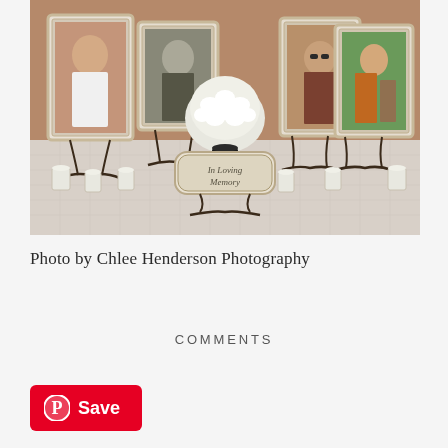[Figure (photo): A memorial table display with four portrait photos in ornate white distressed frames on decorative iron easels, a white floral centerpiece (hydrangeas), small white votive candles on a white linen-covered table, and a decorative sign reading 'In Loving Memory' in script lettering on a vintage-style plaque.]
Photo by Chlee Henderson Photography
COMMENTS